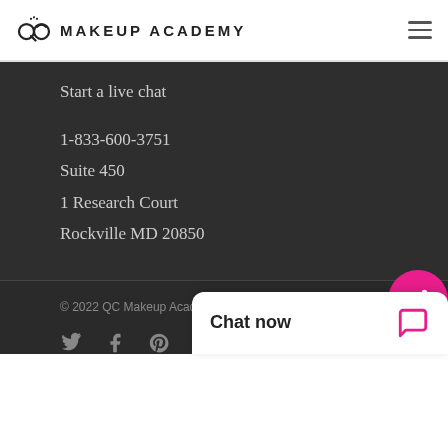QC Makeup Academy
Start a live chat
1-833-600-3751
Suite 450
1 Research Court
Rockville MD 20850
© 2022 QC Makeup Academy.
[Figure (other): Social media icons: Twitter, Facebook, Pinterest, LinkedIn, YouTube, Instagram]
[Figure (other): Chat now widget with speech bubble icon and pink share button]